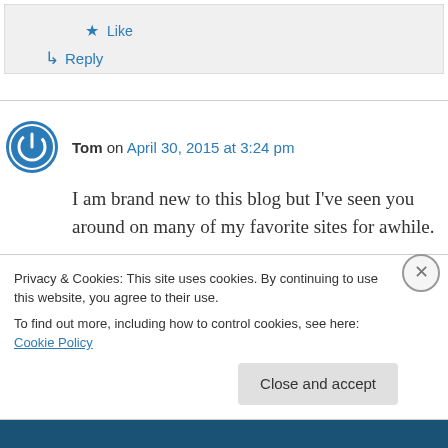★ Like
↳ Reply
Tom on April 30, 2015 at 3:24 pm
I am brand new to this blog but I've seen you around on many of my favorite sites for awhile.
Privacy & Cookies: This site uses cookies. By continuing to use this website, you agree to their use.
To find out more, including how to control cookies, see here: Cookie Policy
Close and accept